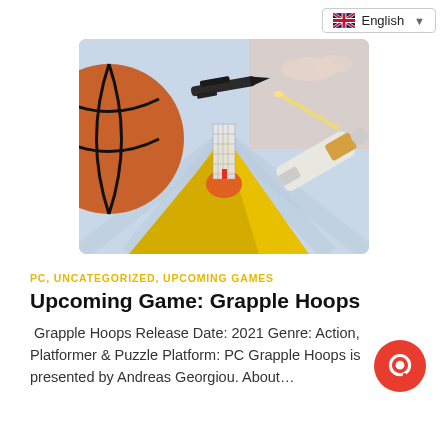English
[Figure (screenshot): A 3D game screenshot showing a basketball, a yellow ramp, an airplane flying overhead, a grapple hook device in the foreground, and a striped colorful background sky.]
PC, UNCATEGORIZED, UPCOMING GAMES
Upcoming Game: Grapple Hoops
Grapple Hoops Release Date: 2021 Genre: Action, Platformer & Puzzle Platform: PC Grapple Hoops is presented by Andreas Georgiou. About…